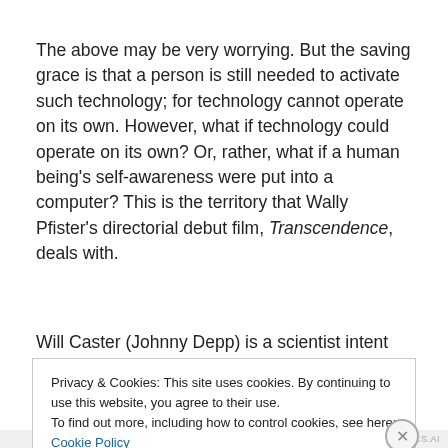The above may be very worrying. But the saving grace is that a person is still needed to activate such technology; for technology cannot operate on its own. However, what if technology could operate on its own? Or, rather, what if a human being's self-awareness were put into a computer? This is the territory that Wally Pfister's directorial debut film, Transcendence, deals with.
Will Caster (Johnny Depp) is a scientist intent on creating
Privacy & Cookies: This site uses cookies. By continuing to use this website, you agree to their use.
To find out more, including how to control cookies, see here: Cookie Policy